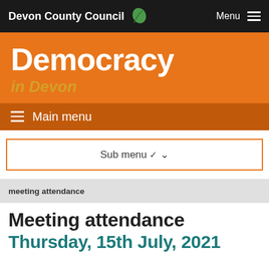Devon County Council  Menu
Democracy
in Devon
≡ Main menu
Sub menu ∨
meeting attendance
Meeting attendance
Thursday, 15th July, 2021